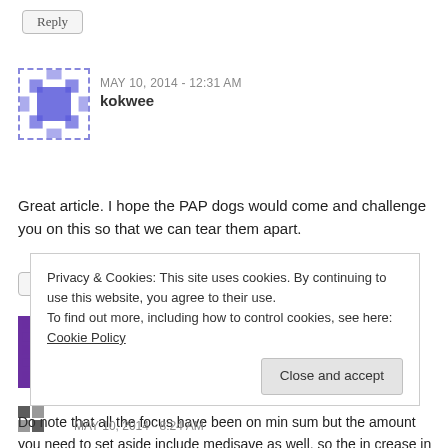Reply
MAY 10, 2014 - 12:31 AM
kokwee
Great article. I hope the PAP dogs would come and challenge you on this so that we can tear them apart.
Reply
MAY 10, 2014 - 12:38 AM
annoymous
Do note that all the focus have been on min sum but the amount you need to set aside include medisave as well, so the in crease in min sum is a...
Privacy & Cookies: This site uses cookies. By continuing to use this website, you agree to their use.
To find out more, including how to control cookies, see here: Cookie Policy
Close and accept
MAY 10, 2014 - 8:24 AM